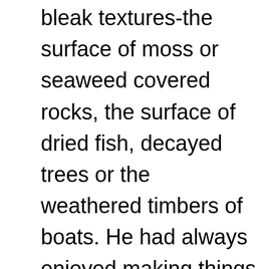bleak textures-the surface of moss or seaweed covered rocks, the surface of dried fish, decayed trees or the weathered timbers of boats. He had always enjoyed making things out of clay and at the age of twenty-five he decided to become a potter, and became an apprentice to Oshde one of the leading